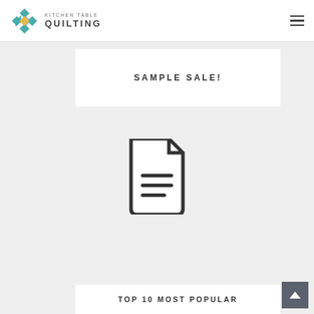KITCHEN TABLE QUILTING
SAMPLE SALE!
[Figure (illustration): Document/file icon — a page with folded top-right corner and three horizontal lines representing text]
TOP 10 MOST POPULAR